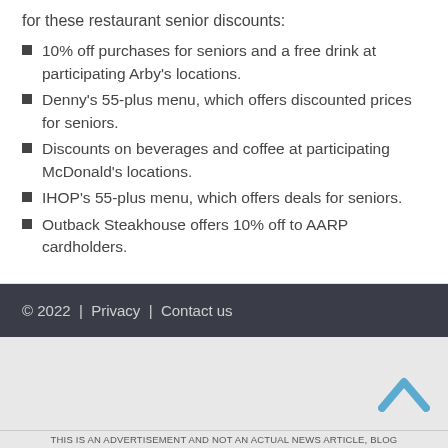for these restaurant senior discounts:
10% off purchases for seniors and a free drink at participating Arby's locations.
Denny's 55-plus menu, which offers discounted prices for seniors.
Discounts on beverages and coffee at participating McDonald's locations.
IHOP's 55-plus menu, which offers deals for seniors.
Outback Steakhouse offers 10% off to AARP cardholders.
© 2022 | Privacy | Contact us
THIS IS AN ADVERTISEMENT AND NOT AN ACTUAL NEWS ARTICLE, BLOG